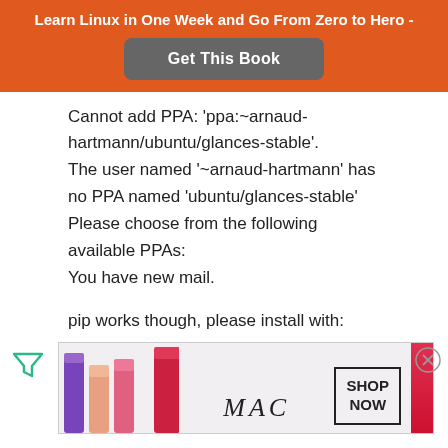Learn Linux in One Week and Go From Zero to Hero -
Get This Book
Cannot add PPA: 'ppa:~arnaud-hartmann/ubuntu/glances-stable'.
The user named '~arnaud-hartmann' has no PPA named 'ubuntu/glances-stable'
Please choose from the following available PPAs:
You have new mail.
pip works though, please install with:
[Figure (photo): MAC cosmetics advertisement showing lipsticks and SHOP NOW button]